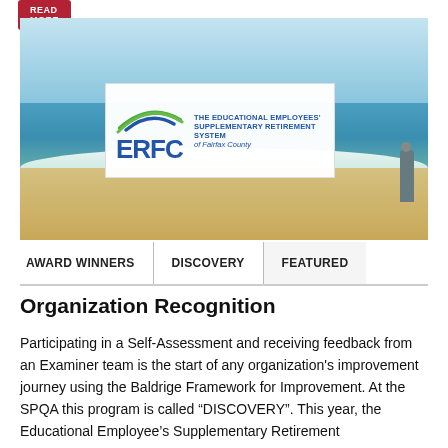[Figure (screenshot): Red 'READ MORE' button at top left]
[Figure (photo): Beach scene with ocean, waves, sand and a person standing at right. Overlaid with ERFC logo box showing 'The Educational Employees' Supplementary Retirement System of Fairfax County'.]
[Figure (screenshot): Navigation bar with tabs: AWARD WINNERS | DISCOVERY | FEATURED]
Organization Recognition
Participating in a Self-Assessment and receiving feedback from an Examiner team is the start of any organization's improvement journey using the Baldrige Framework for Improvement. At the SPQA this program is called “DISCOVERY”. This year, the Educational Employee’s Supplementary Retirement